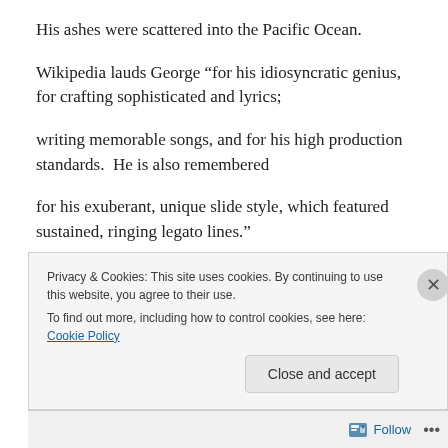His ashes were scattered into the Pacific Ocean.
Wikipedia lauds George “for his idiosyncratic genius, for crafting sophisticated and lyrics;
writing memorable songs, and for his high production standards.  He is also remembered
for his exuberant, unique slide style, which featured sustained, ringing legato lines.”
Privacy & Cookies: This site uses cookies. By continuing to use this website, you agree to their use.
To find out more, including how to control cookies, see here: Cookie Policy
Close and accept
Follow